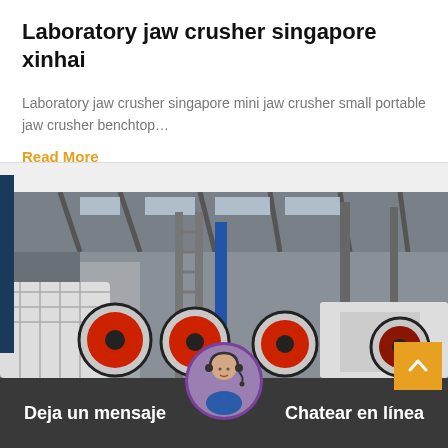Laboratory jaw crusher singapore xinhai
Laboratory jaw crusher singapore mini jaw crusher small portable jaw crusher benchtop…
Read More
[Figure (photo): Industrial factory interior with large jaw crusher machinery featuring red and black wheel assemblies, metal scaffolding and structural steel beams in background.]
Deja un mensaje   Chatear en línea